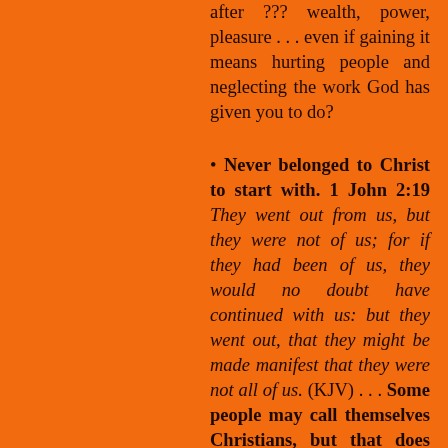after ??? wealth, power, pleasure . . . even if gaining it means hurting people and neglecting the work God has given you to do?
• Never belonged to Christ to start with. 1 John 2:19 They went out from us, but they were not of us; for if they had been of us, they would no doubt have continued with us: but they went out, that they might be made manifest that they were not all of us. (KJV) . . . Some people may call themselves Christians, but that does not mean they are God's children. Going to church could be just a family tradition. Maybe they like the social and business contacts they make there. Or maybe going to church is a habit. Unless going to church